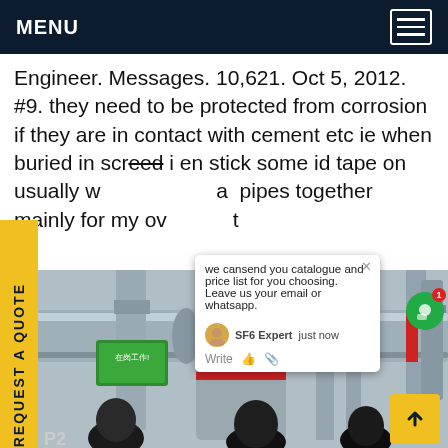MENU
Engineer. Messages. 10,621. Oct 5, 2012. #9. they need to be protected from corrosion if they are in contact with cement etc ie when buried in screed i en stick some id tape on usually w a pipes together mainly for my ov t e
REQUEST A QUOTE
[Figure (photo): Industrial SF6 gas-insulated switchgear piping with red-banded flanged joints, green safety signage in Chinese characters (在岗工作), workers in dark clothing, outdoor substation setting with multiple large grey insulated pipes and equipment]
we cansend you catalogue and price list for you choosing. Leave us your email or whatsapp.
SF6 Expert  just now
Write